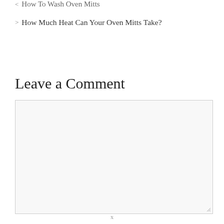How To Wash Oven Mitts
How Much Heat Can Your Oven Mitts Take?
Leave a Comment
[Figure (other): Empty comment textarea input box with resize handle]
x